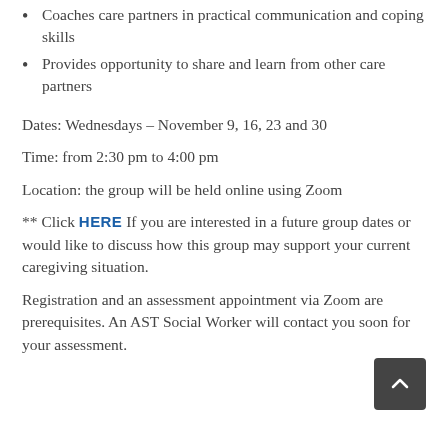Coaches care partners in practical communication and coping skills
Provides opportunity to share and learn from other care partners
Dates: Wednesdays – November 9, 16, 23 and 30
Time: from 2:30 pm to 4:00 pm
Location: the group will be held online using Zoom
** Click HERE If you are interested in a future group dates or would like to discuss how this group may support your current caregiving situation.
Registration and an assessment appointment via Zoom are prerequisites. An AST Social Worker will contact you soon for your assessment.